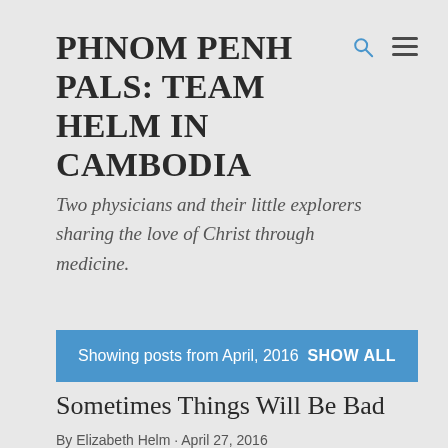PHNOM PENH PALS: TEAM HELM IN CAMBODIA
Two physicians and their little explorers sharing the love of Christ through medicine.
Showing posts from April, 2016   SHOW ALL
Sometimes Things Will Be Bad
By Elizabeth Helm · April 27, 2016